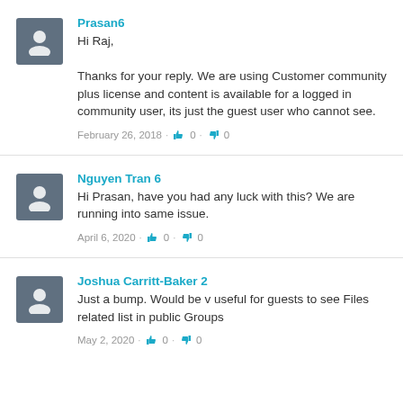Prasan6
Hi Raj,

Thanks for your reply. We are using Customer community plus license and content is available for a logged in community user, its just the guest user who cannot see.
February 26, 2018 · 0 · 0
Nguyen Tran 6
Hi Prasan, have you had any luck with this? We are running into same issue.
April 6, 2020 · 0 · 0
Joshua Carritt-Baker 2
Just a bump. Would be v useful for guests to see Files related list in public Groups
May 2, 2020 · 0 · 0